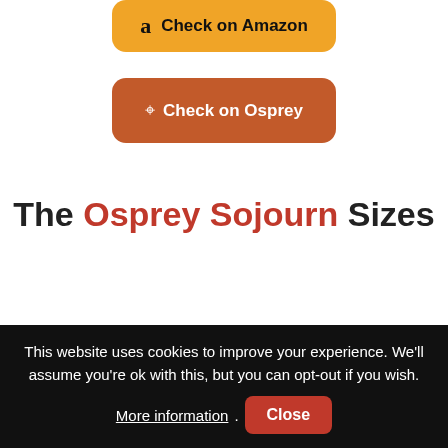[Figure (other): Orange Amazon button with Amazon logo and text 'Check on Amazon']
[Figure (other): Brown/terracotta Osprey button with osprey bird icon and text 'Check on Osprey']
The Osprey Sojourn Sizes
This website uses cookies to improve your experience. We'll assume you're ok with this, but you can opt-out if you wish. More information. Close